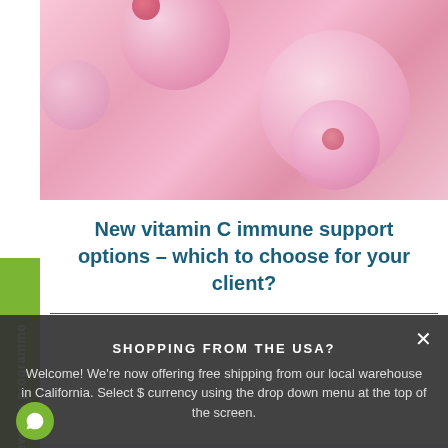[Figure (photo): Close-up of pink translucent biological cells or bubbles on pink background]
New vitamin C immune support options – which to choose for your client?
Rewards programme
[Figure (photo): Light blue sky with soft clouds]
SHOPPING FROM THE USA?
Welcome! We're now offering free shipping from our local warehouse in California. Select $ currency using the drop down menu at the top of the screen.